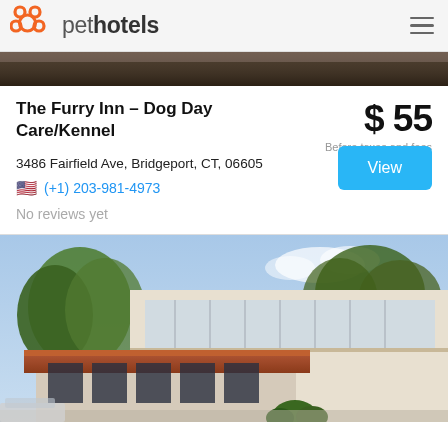pethotels
[Figure (photo): Top strip photo of hotel or pet kennel]
The Furry Inn – Dog Day Care/Kennel
$ 55
Before taxes and fees
3486 Fairfield Ave, Bridgeport, CT, 06605
(+1) 203-981-4973
No reviews yet
[Figure (photo): Street-level photo of a commercial building with a brown/terracotta roof, large windows, and trees in front]